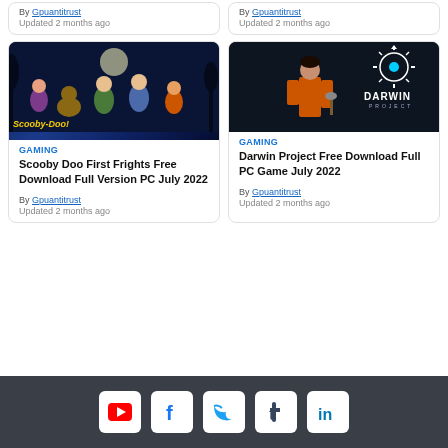By Gpuantitrust
Updated 2 months ago
By Gpuantitrust
Updated 2 months ago
[Figure (photo): Scooby-Doo First Frights game promotional image showing animated characters including Daphne, Scooby-Doo, Shaggy, and Velma against a dark haunted background with moon]
[Figure (photo): Darwin Project game promotional image showing a character in orange prison jumpsuit holding an axe, with the Darwin Project logo on a dark background]
GAMING
Scooby Doo First Frights Free Download Full Version PC July 2022
By Gpuantitrust
Updated 2 months ago
GAMING
Darwin Project Free Download Full PC Game July 2022
By Gpuantitrust
Updated 2 months ago
[Figure (logo): Social media icons row: YouTube, Facebook, Twitter, Tumblr, LinkedIn]